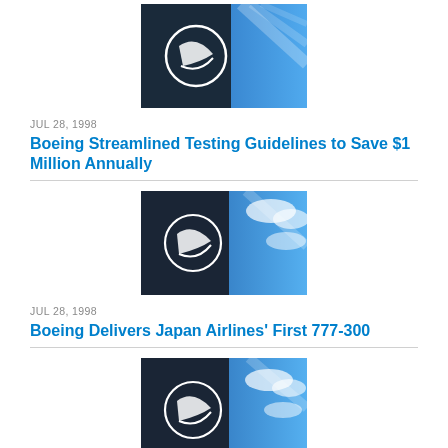[Figure (photo): Boeing logo on building exterior with blue sky background (top, partially cut off)]
JUL 28, 1998
Boeing Streamlined Testing Guidelines to Save $1 Million Annually
[Figure (photo): Boeing logo on building exterior with blue sky and clouds]
JUL 28, 1998
Boeing Delivers Japan Airlines' First 777-300
[Figure (photo): Boeing logo on building exterior with blue sky and clouds]
JUL 27, 1998
First Boeing Business Jet Rolls Out To Seattle